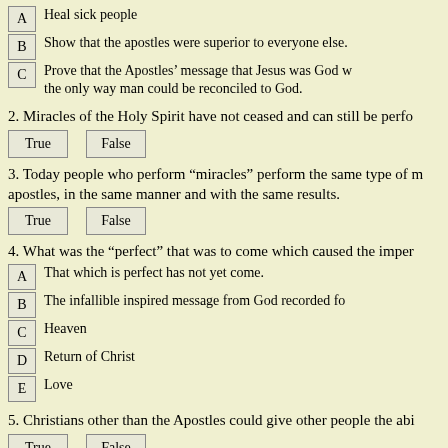A  Heal sick people
B  Show that the apostles were superior to everyone else.
C  Prove that the Apostles’ message that Jesus was God w… the only way man could be reconciled to God.
2. Miracles of the Holy Spirit have not ceased and can still be perfo…
True  False
3. Today people who perform “miracles” perform the same type of m… apostles, in the same manner and with the same results.
True  False
4. What was the “perfect” that was to come which caused the imper…
A  That which is perfect has not yet come.
B  The infallible inspired message from God recorded fo…
C  Heaven
D  Return of Christ
E  Love
5. Christians other than the Apostles could give other people the abi…
True  False